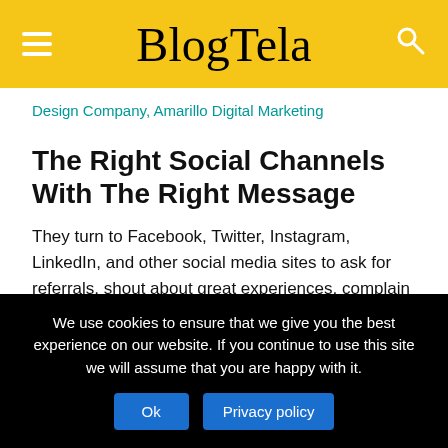BlogTela
Design Company, Amarillo Digital Marketing
The Right Social Channels With The Right Message
They turn to Facebook, Twitter, Instagram, LinkedIn, and other social media sites to ask for referrals, shout about great experiences, complain about bad ones, and start conversations about anything and everything. Our social media strategists help you tap into these conversations by inviting your customers to
We use cookies to ensure that we give you the best experience on our website. If you continue to use this site we will assume that you are happy with it.
Ok  Privacy policy